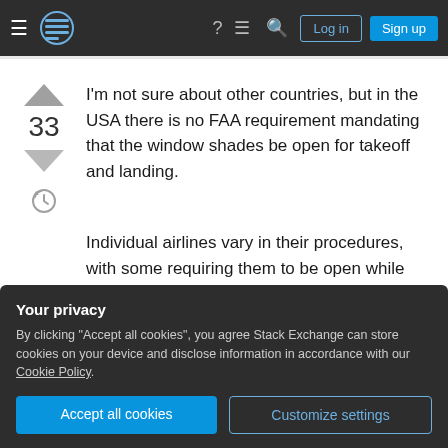Stack Exchange navigation bar with hamburger menu, logo, help, chat, search icons, Log in and Sign up buttons
I'm not sure about other countries, but in the USA there is no FAA requirement mandating that the window shades be open for takeoff and landing.
Individual airlines vary in their procedures, with some requiring them to be open while others do not. This is set by company policy, presumably set by management because they decided that there was/was not a safety benefit in doing so.
off.
Your privacy
By clicking "Accept all cookies", you agree Stack Exchange can store cookies on your device and disclose information in accordance with our Cookie Policy.
Accept all cookies  Customize settings